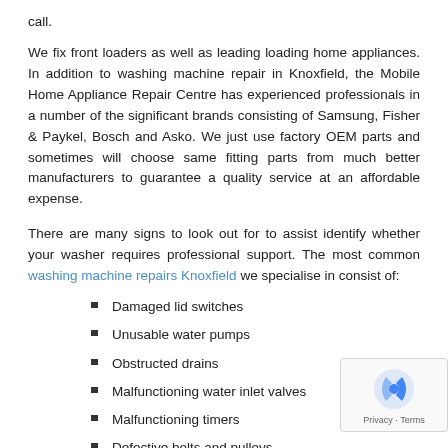call.
We fix front loaders as well as leading loading home appliances. In addition to washing machine repair in Knoxfield, the Mobile Home Appliance Repair Centre has experienced professionals in a number of the significant brands consisting of Samsung, Fisher & Paykel, Bosch and Asko. We just use factory OEM parts and sometimes will choose same fitting parts from much better manufacturers to guarantee a quality service at an affordable expense.
There are many signs to look out for to assist identify whether your washer requires professional support. The most common washing machine repairs Knoxfield we specialise in consist of:
Damaged lid switches
Unusable water pumps
Obstructed drains
Malfunctioning water inlet valves
Malfunctioning timers
Defective belts and pulleys
Out-of-order motors